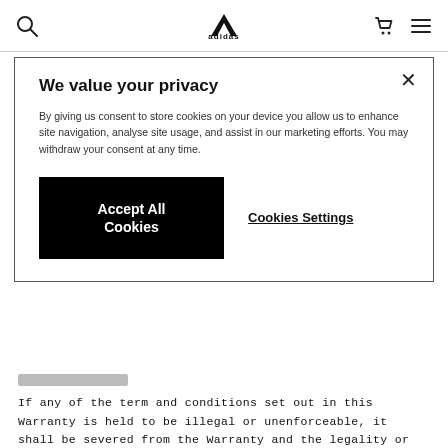adidas navigation bar with search, logo, cart, and menu icons
[Figure (screenshot): Cookie consent modal dialog with title 'We value your privacy', body text about cookies, 'Accept All Cookies' button and 'Cookies Settings' link]
If any of the term and conditions set out in this Warranty is held to be illegal or unenforceable, it shall be severed from the Warranty and the legality or enforceability of the remaining terms shall not be affected.
The Warranty is governed by and construed under the laws of the country where the Product was originally purchased. No third party, including Zound Industries ASCs, or any of their